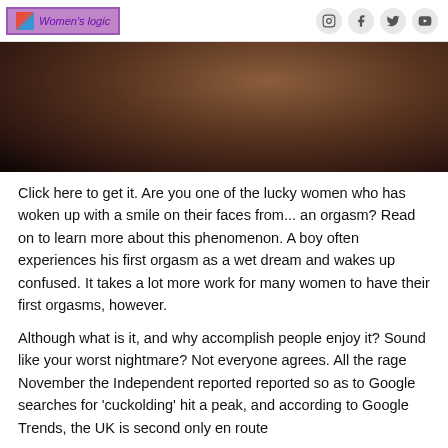Women's logic
[Figure (photo): Close-up dark-toned photo, cropped body image with dark brown skin tones against a light background]
Click here to get it. Are you one of the lucky women who has woken up with a smile on their faces from... an orgasm? Read on to learn more about this phenomenon. A boy often experiences his first orgasm as a wet dream and wakes up confused. It takes a lot more work for many women to have their first orgasms, however.
Although what is it, and why accomplish people enjoy it? Sound like your worst nightmare? Not everyone agrees. All the rage November the Independent reported reported so as to Google searches for 'cuckolding' hit a peak, and according to Google Trends, the UK is second only en route